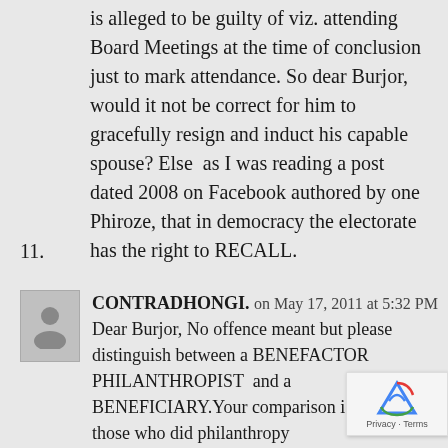is alleged to be guilty of viz. attending Board Meetings at the time of conclusion just to mark attendance. So dear Burjor, would it not be correct for him to gracefully resign and induct his capable spouse? Else as I was reading a post dated 2008 on Facebook authored by one Phiroze, that in democracy the electorate has the right to RECALL.
11.
CONTRADHONGI. on May 17, 2011 at 5:32 PM
Dear Burjor, No offence meant but please distinguish between a BENEFACTOR PHILANTHROPIST and a BENEFICIARY.Your comparison is insidious to those who did philanthropy